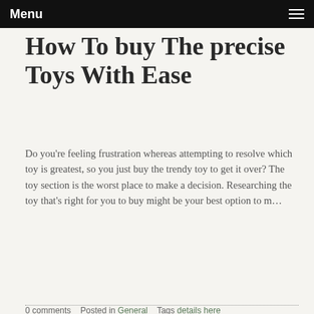Menu
How To buy The precise Toys With Ease
Do you're feeling frustration whereas attempting to resolve which toy is greatest, so you just buy the trendy toy to get it over? The toy section is the worst place to make a decision. Researching the toy that's right for you to buy might be your best option to m…
Read more
0 comments   Posted in General   Tags details here
LOOKING FOR